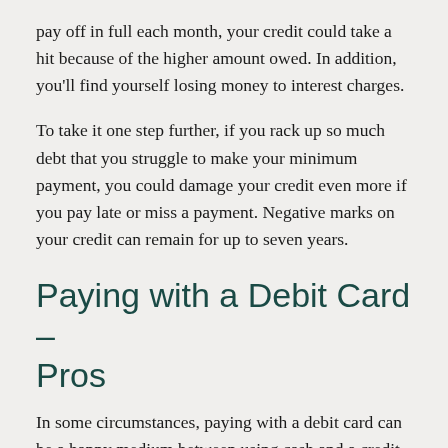pay off in full each month, your credit could take a hit because of the higher amount owed. In addition, you'll find yourself losing money to interest charges.
To take it one step further, if you rack up so much debt that you struggle to make your minimum payment, you could damage your credit even more if you pay late or miss a payment. Negative marks on your credit can remain for up to seven years.
Paying with a Debit Card – Pros
In some circumstances, paying with a debit card can be a happy medium between using cash and a credit card. A debit card will pull money from the linked checking account, helping ensure that you don't spend more money than you have. However, debit cards can be used at most places that accept credit cards, making their use just as